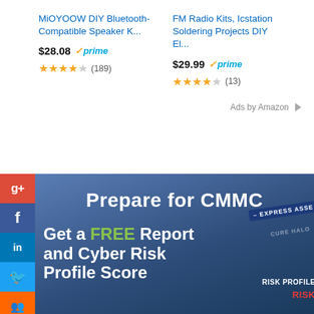[Figure (screenshot): Amazon product listing: MiOYOOW DIY Bluetooth-Compatible Speaker K… priced at $28.08 with Prime badge and 4-star rating (189 reviews)]
[Figure (screenshot): Amazon product listing: FM Radio Kits, Icstation Soldering Projects DIY El… priced at $29.99 with Prime badge and 4-star rating (13 reviews)]
Ads by Amazon
[Figure (infographic): CMMC advertisement banner: 'Prepare for CMMC' headline, 'Get a FREE Report and Cyber Risk Profile Score' with book cover image showing RISK PROFILE and EXPRESS ASSESSMENT branding. Social media sidebar buttons: Google+, Facebook, LinkedIn, Twitter, share, StumbleUpon.]